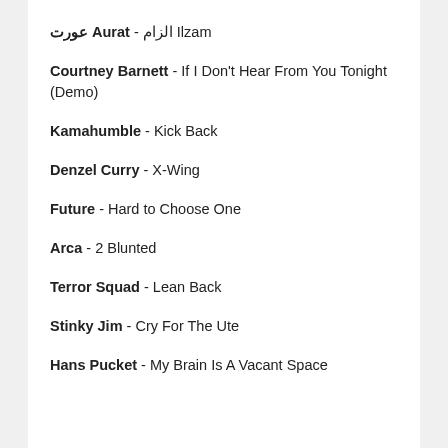عورت Aurat - الزام Ilzam
Courtney Barnett - If I Don't Hear From You Tonight (Demo)
Kamahumble - Kick Back
Denzel Curry - X-Wing
Future - Hard to Choose One
Arca - 2 Blunted
Terror Squad - Lean Back
Stinky Jim - Cry For The Ute
Hans Pucket - My Brain Is A Vacant Space